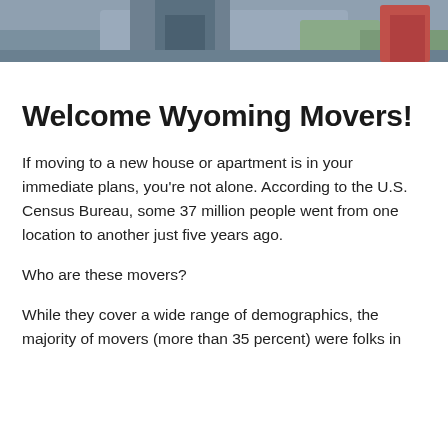[Figure (photo): Cropped photo of a person sitting, likely on a moving truck, outdoors with greenery in background]
Welcome Wyoming Movers!
If moving to a new house or apartment is in your immediate plans, you're not alone. According to the U.S. Census Bureau, some 37 million people went from one location to another just five years ago.
Who are these movers?
While they cover a wide range of demographics, the majority of movers (more than 35 percent) were folks in